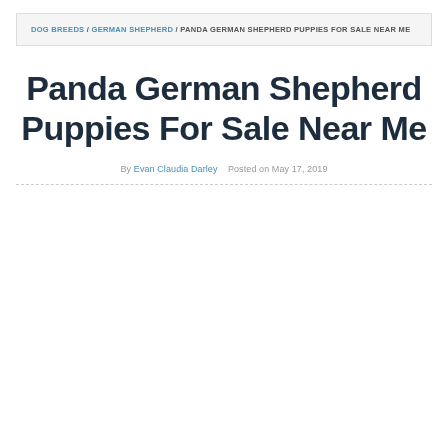DOG BREEDS / GERMAN SHEPHERD / PANDA GERMAN SHEPHERD PUPPIES FOR SALE NEAR ME
Panda German Shepherd Puppies For Sale Near Me
By Evan Claudia Darley   Posted on May 17, 2019